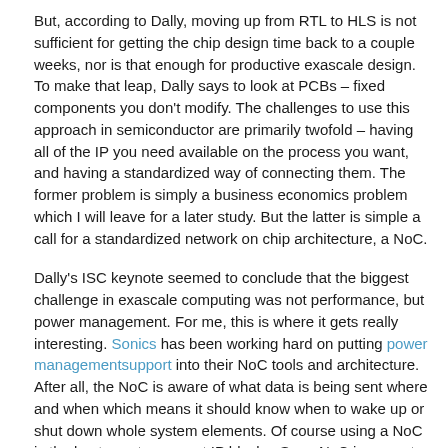But, according to Dally, moving up from RTL to HLS is not sufficient for getting the chip design time back to a couple weeks, nor is that enough for productive exascale design. To make that leap, Dally says to look at PCBs – fixed components you don't modify. The challenges to use this approach in semiconductor are primarily twofold – having all of the IP you need available on the process you want, and having a standardized way of connecting them. The former problem is simply a business economics problem which I will leave for a later study. But the latter is simple a call for a standardized network on chip architecture, a NoC.
Dally's ISC keynote seemed to conclude that the biggest challenge in exascale computing was not performance, but power management. For me, this is where it gets really interesting. Sonics has been working hard on putting power managementsupport into their NoC tools and architecture. After all, the NoC is aware of what data is being sent where and when which means it should know when to wake up or shut down whole system elements. Of course using a NoC is the best way to connect IP blocks. So, a NoC is a great tool to help the designer move up a level of abstraction and to reduce power – the two main points that Dally is making.
There is yet one remaining point I should make though. In modern chip